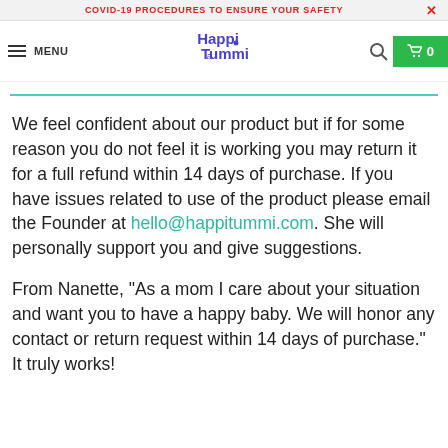COVID-19 PROCEDURES TO ENSURE YOUR SAFETY
[Figure (screenshot): HappiTummi website navigation bar with hamburger menu, logo, search icon, and cart button showing 0 items]
We feel confident about our product but if for some reason you do not feel it is working you may return it for a full refund within 14 days of purchase. If you have issues related to use of the product please email the Founder at hello@happitummi.com. She will personally support you and give suggestions.
From Nanette, "As a mom I care about your situation and want you to have a happy baby. We will honor any contact or return request within 14 days of purchase." It truly works!